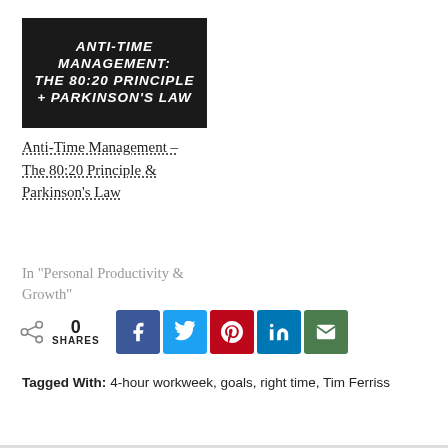[Figure (illustration): Dark background thumbnail image with white italic bold text reading: ANTI-TIME MANAGEMENT: THE 80:20 PRINCIPLE + PARKINSON'S LAW]
Anti-Time Management – The 80:20 Principle & Parkinson's Law
In "Personal Productivity & Growth"
0 SHARES with social share buttons for Facebook, Twitter, Pinterest, LinkedIn, Email
Tagged With: 4-hour workweek, goals, right time, Tim Ferriss